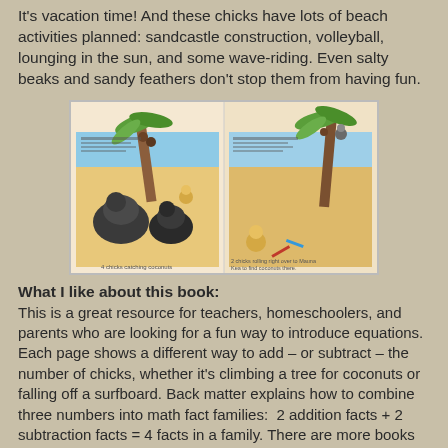It's vacation time! And these chicks have lots of beach activities planned: sandcastle construction, volleyball, lounging in the sun, and some wave-riding. Even salty beaks and sandy feathers don't stop them from having fun.
[Figure (illustration): A children's book spread showing cartoon chicks and dark mole-like animals at a beach with palm trees. Left page shows animals catching coconuts with text '4 chicks catching coconuts'. Right page shows chicks rolling near Mauna Kea with palm trees and beach toys.]
What I like about this book:
This is a great resource for teachers, homeschoolers, and parents who are looking for a fun way to introduce equations. Each page shows a different way to add – or subtract – the number of chicks, whether it's climbing a tree for coconuts or falling off a surfboard. Back matter explains how to combine three numbers into math fact families:  2 addition facts + 2 subtraction facts = 4 facts in a family. There are more books in the Arithmechicks series; check out